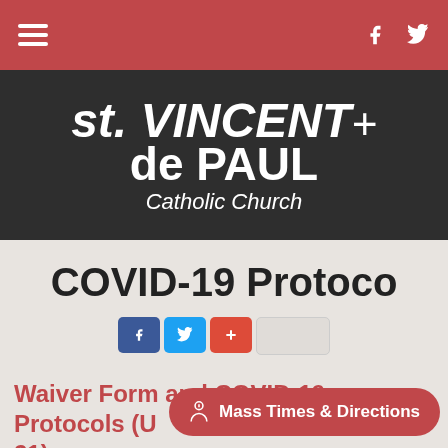Navigation bar with hamburger menu, Facebook and Twitter icons
[Figure (logo): St. Vincent de Paul Catholic Church logo on dark background]
COVID-19 Protoco
[Figure (infographic): Social share buttons: Facebook, Twitter, plus, and blank]
Waiver Form and COVID-19 Protocols (U 21)
Mass Times & Directions button